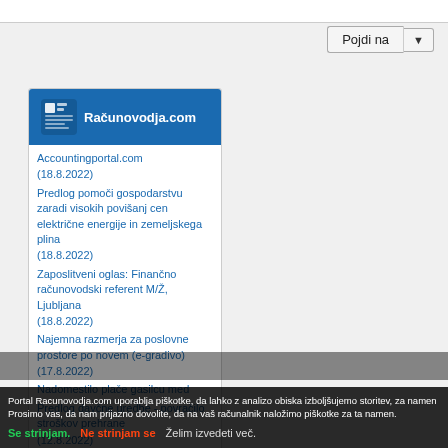[Figure (screenshot): Screenshot of a web browser showing the Računovodja.com accounting portal with a navigation button 'Pojdi na' and a card widget listing recent articles]
Accountingportal.com
(18.8.2022)
Predlog pomoči gospodarstvu zaradi visokih povišanj cen električne energije in zemeljskega plina
(18.8.2022)
Zaposlitveni oglas: Finančno računovodski referent M/Ž, Ljubljana
(18.8.2022)
Najemna razmerja za poslovne prostore po novem (e-gradivo)
(17.8.2022)
Nadomestilo plače gasilcu med
Predlog davčne uredbe - povračilo stroškov prehrane
(12.8.2022)
Portal Racunovodja.com uporablja piškotke, da lahko z analizo obiska izboljšujemo storitev, za namen... Prosimo vas, da nam prijazno dovolite, da na vaš računalnik naložimo piškotke za ta namen.
Se strinjam.
Ne strinjam se
Želim izvedeti več.